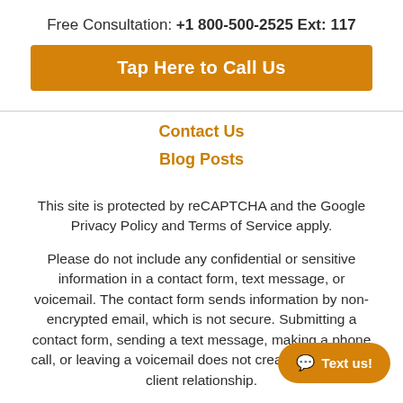Free Consultation: +1 800-500-2525 Ext: 117
Tap Here to Call Us
Contact Us
Blog Posts
This site is protected by reCAPTCHA and the Google Privacy Policy and Terms of Service apply.
Please do not include any confidential or sensitive information in a contact form, text message, or voicemail. The contact form sends information by non-encrypted email, which is not secure. Submitting a contact form, sending a text message, making a phone call, or leaving a voicemail does not create an attorney-client relationship.